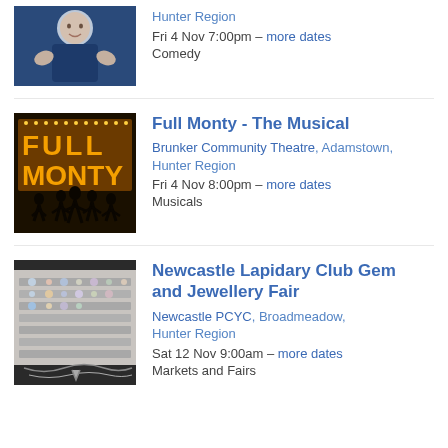[Figure (photo): Person in dark blue top gesturing with hands]
Hunter Region
Fri 4 Nov 7:00pm – more dates
Comedy
[Figure (photo): Full Monty promotional image with silhouetted dancers and illuminated letters spelling FULL MONTY]
Full Monty - The Musical
Brunker Community Theatre, Adamstown, Hunter Region
Fri 4 Nov 8:00pm – more dates
Musicals
[Figure (photo): Jewellery displayed on a cloth surface with various gems and necklaces]
Newcastle Lapidary Club Gem and Jewellery Fair
Newcastle PCYC, Broadmeadow, Hunter Region
Sat 12 Nov 9:00am – more dates
Markets and Fairs